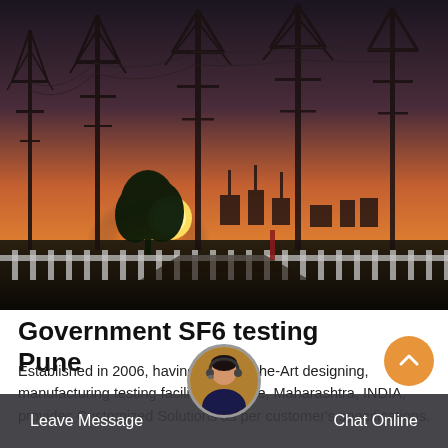[Figure (photo): Electrical substation at sunset/dusk with high-voltage transmission towers, power lines, and silhouetted infrastructure against an orange and yellow sky with a visible sun low on the horizon. White fence in foreground.]
Government SF6 testing Pune
Established in 2006, having State-of-the-Art designing, manufacturing testing facilities in Pune, Maharashtra, INDIA, provides Customized Solutions as per customer's specifications.
Leave Message   Chat Online